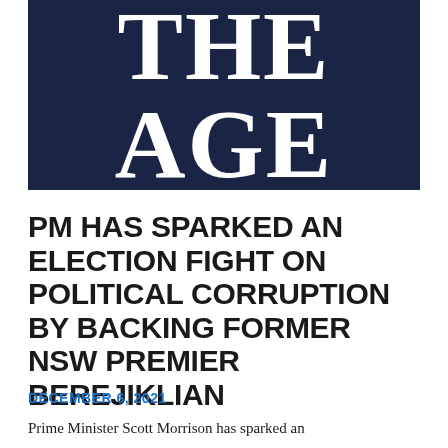[Figure (logo): The Age newspaper logo — white serif text 'THE AGE' on dark navy blue background]
PM HAS SPARKED AN ELECTION FIGHT ON POLITICAL CORRUPTION BY BACKING FORMER NSW PREMIER BEREJIKLIAN
DECEMBER 6, 2021
Prime Minister Scott Morrison has sparked an